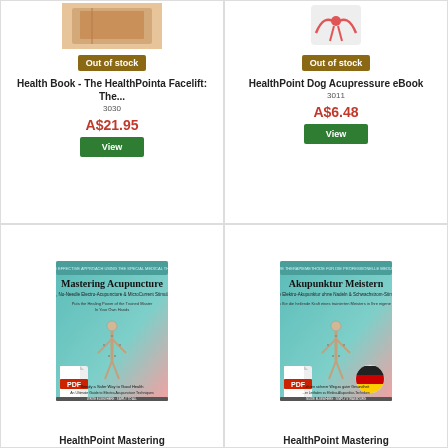[Figure (photo): Health Book - The HealthPointa Facelift product image with Out of stock badge]
Health Book - The HealthPointa Facelift: The...
3030
A$21.95
View
[Figure (photo): HealthPoint Dog Acupressure eBook product image with Out of stock badge]
HealthPoint Dog Acupressure eBook
3011
A$6.48
View
[Figure (photo): Mastering Acupuncture book cover showing human body acupuncture points with PDF icon]
HealthPoint Mastering Acupuncture Book
[Figure (photo): Akupunktur Meistern book cover (German edition) showing human body acupuncture points with PDF icon and German flag]
HealthPoint Mastering Acupuncture Book